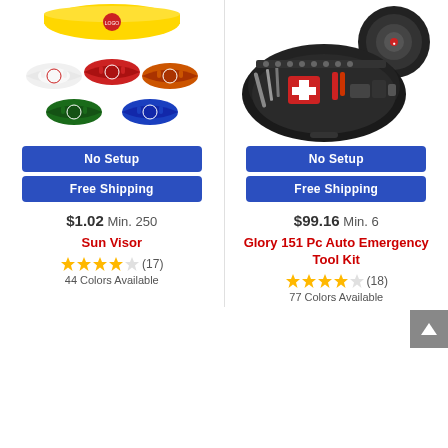[Figure (photo): Sun Visor product image showing multiple colorful visors in white, red, orange, green, blue, and yellow with logos]
[Figure (photo): Glory 151 Pc Auto Emergency Tool Kit shown open in black case with tools and also a round tire-shaped case]
No Setup
Free Shipping
No Setup
Free Shipping
$1.02 Min. 250
$99.16 Min. 6
Sun Visor
Glory 151 Pc Auto Emergency Tool Kit
★★★★☆ (17)
44 Colors Available
★★★★☆ (18)
77 Colors Available